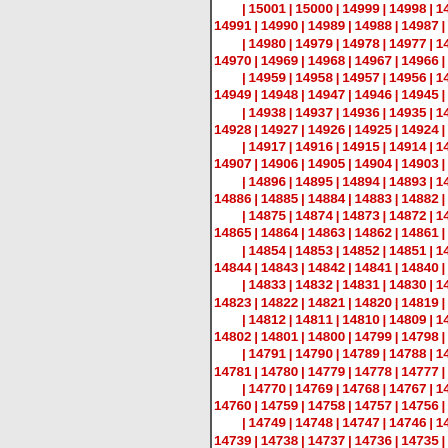Descending sequence of numbers from 15001 down to approximately 14676, displayed as pipe-separated values in red bold font on the right half of the page.